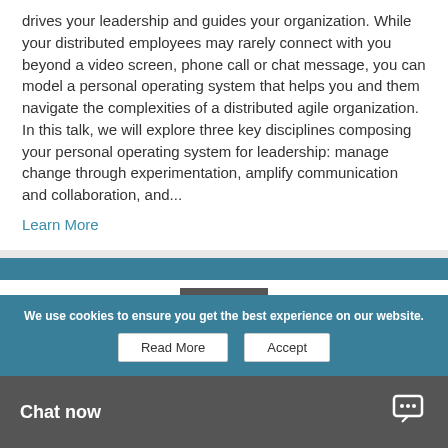drives your leadership and guides your organization. While your distributed employees may rarely connect with you beyond a video screen, phone call or chat message, you can model a personal operating system that helps you and them navigate the complexities of a distributed agile organization. In this talk, we will explore three key disciplines composing your personal operating system for leadership: manage change through experimentation, amplify communication and collaboration, and...
Learn More
We use cookies to ensure you get the best experience on our website.
Read More
Accept
Chat now